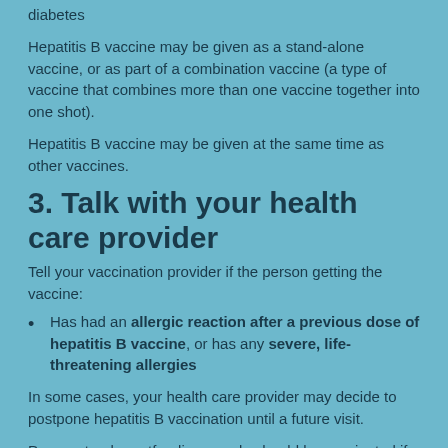diabetes
Hepatitis B vaccine may be given as a stand-alone vaccine, or as part of a combination vaccine (a type of vaccine that combines more than one vaccine together into one shot).
Hepatitis B vaccine may be given at the same time as other vaccines.
3. Talk with your health care provider
Tell your vaccination provider if the person getting the vaccine:
Has had an allergic reaction after a previous dose of hepatitis B vaccine, or has any severe, life-threatening allergies
In some cases, your health care provider may decide to postpone hepatitis B vaccination until a future visit.
Pregnant or breastfeeding people should be vaccinated if they are at risk for getting hepatitis B. Pregnancy or breastfeeding are not reasons to avoid hepatitis B vaccination.
People with minor illnesses, such as a cold, may be vaccinated.